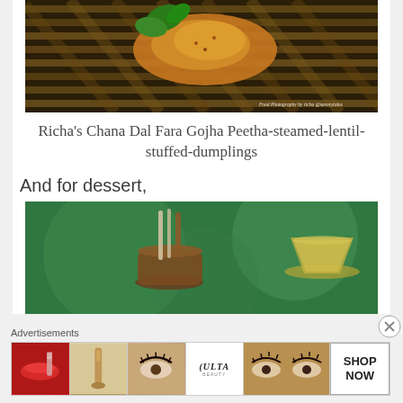[Figure (photo): Food photography of Chana Dal Fara Gojha Peetha (steamed lentil stuffed dumplings) on a bamboo mat with green leaves, watermark reads 'Food Photography by richa @savorytales']
Richa's Chana Dal Fara Gojha Peetha-steamed-lentil-stuffed-dumplings
And for dessert,
[Figure (photo): Food photography of dessert items including what appears to be a mortar with spoons and a glass of yellow/green colored dessert drink against a green background]
Advertisements
[Figure (photo): Advertisement banner for ULTA Beauty showing makeup products, eyes, lips, and a 'SHOP NOW' call to action]